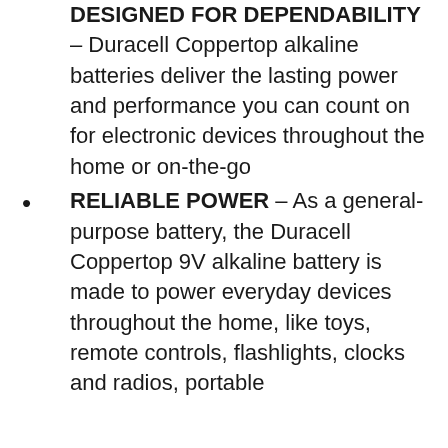DESIGNED FOR DEPENDABILITY – Duracell Coppertop alkaline batteries deliver the lasting power and performance you can count on for electronic devices throughout the home or on-the-go
RELIABLE POWER – As a general-purpose battery, the Duracell Coppertop 9V alkaline battery is made to power everyday devices throughout the home, like toys, remote controls, flashlights, clocks and radios, portable